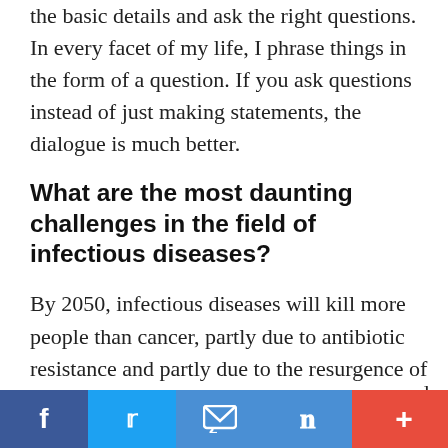the basic details and ask the right questions. In every facet of my life, I phrase things in the form of a question. If you ask questions instead of just making statements, the dialogue is much better.
What are the most daunting challenges in the field of infectious diseases?
By 2050, infectious diseases will kill more people than cancer, partly due to antibiotic resistance and partly due to the resurgence of old diseases and the emergence of new pathogens. There's a dire need for new therapies, but also for new prevention strategies. Another aspect, of course, is social acceptance of vaccines, especially the timing of prophylactic vaccines for children, and combating vaccine hesitation and public engagement